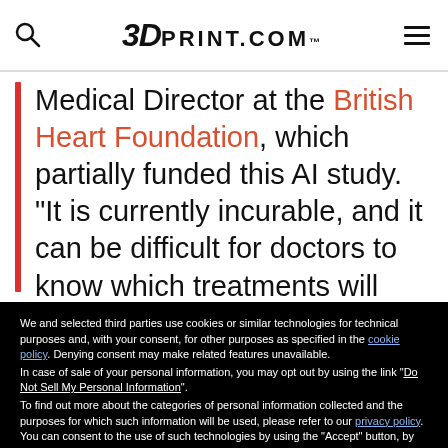3DPRINT.COM
Medical Director at the British Heart Foundation, which partially funded this AI study. “It is currently incurable, and it can be difficult for doctors to know which treatments will work best for individual
We and selected third parties use cookies or similar technologies for technical purposes and, with your consent, for other purposes as specified in the cookie policy. Denying consent may make related features unavailable.
In case of sale of your personal information, you may opt out by using the link “Do Not Sell My Personal Information”.
To find out more about the categories of personal information collected and the purposes for which such information will be used, please refer to our privacy policy. You can consent to the use of such technologies by using the “Accept” button, by scrolling this page, by interacting with any link or button outside of this notice or by continuing to browse otherwise.
Reject
Accept
Learn more and customize